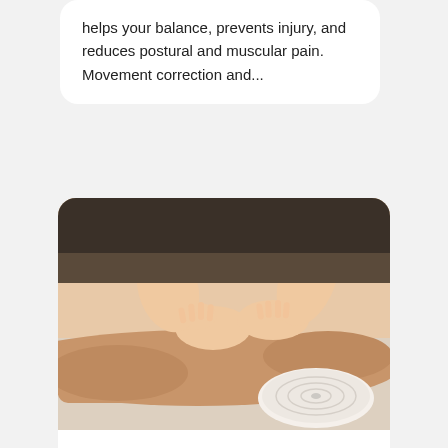helps your balance, prevents injury, and reduces postural and muscular pain. Movement correction and...
[Figure (photo): A therapist performing a back massage on a client lying on a massage table, with a rolled white towel in the foreground.]
Difference Between General Massage and Sports Massage